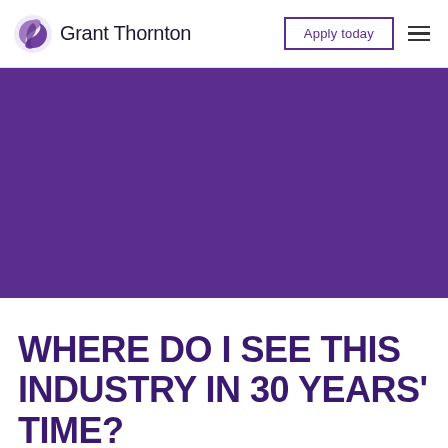Grant Thornton | Apply today
[Figure (photo): Solid purple/violet banner background image area]
WHERE DO I SEE THIS INDUSTRY IN 30 YEARS' TIME?